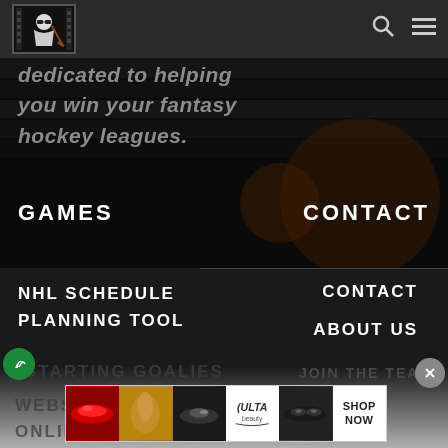[Figure (logo): Fantasy hockey website logo - cartoon figure with sunglasses in a bordered box]
dedicated to helping you win your fantasy hockey leagues.
GAMES
CONTACT
NHL SCHEDULE PLANNING TOOL
CONTACT
ABOUT US
STARTING GOALIES
JOIN THE TEAM
WEBS
ONLINE HOCKEY
[Figure (illustration): Green circle badge with leaf/plant icon]
[Figure (illustration): Gray circle with X close button]
[Figure (screenshot): ULTA beauty advertisement banner showing makeup images and SHOP NOW call to action]